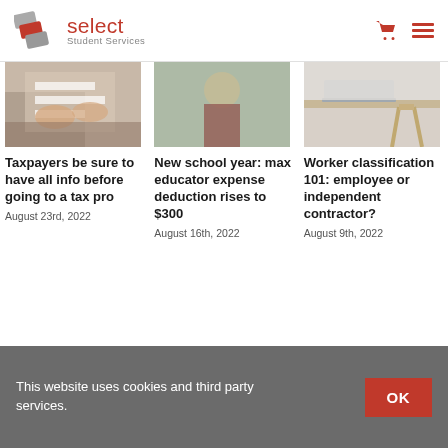[Figure (logo): Select Student Services logo with red and grey overlapping shield shapes and red 'select' text with grey 'Student Services' subtitle]
[Figure (photo): Hands reviewing paper documents on a desk]
[Figure (photo): Person with blonde hair viewed from behind looking at a wall]
[Figure (photo): Laptop on a light wood desk with chair legs visible]
Taxpayers be sure to have all info before going to a tax pro
August 23rd, 2022
New school year: max educator expense deduction rises to $300
August 16th, 2022
Worker classification 101: employee or independent contractor?
August 9th, 2022
This website uses cookies and third party services.